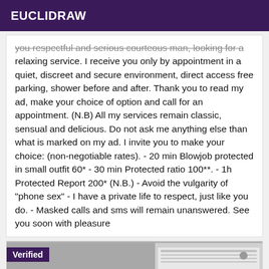EUCLIDRAW
you respectful and serious courteous man, looking for a relaxing service. I receive you only by appointment in a quiet, discreet and secure environment, direct access free parking, shower before and after. Thank you to read my ad, make your choice of option and call for an appointment. (N.B) All my services remain classic, sensual and delicious. Do not ask me anything else than what is marked on my ad. I invite you to make your choice: (non-negotiable rates). - 20 min Blowjob protected in small outfit 60* - 30 min Protected ratio 100**. - 1h Protected Report 200* (N.B.) - Avoid the vulgarity of "phone sex" - I have a private life to respect, just like you do. - Masked calls and sms will remain unanswered. See you soon with pleasure
[Figure (photo): Photo of a person with dark curly hair, partially visible, with a white appliance (air conditioner) in the background. A 'Verified' badge is shown in the top-left corner of the photo.]